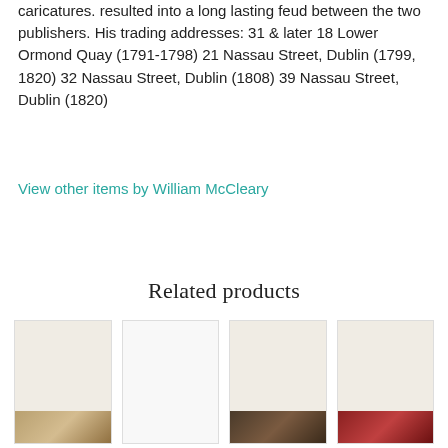caricatures. resulted into a long lasting feud between the two publishers. His trading addresses: 31 & later 18 Lower Ormond Quay (1791-1798) 21 Nassau Street, Dublin (1799, 1820) 32 Nassau Street, Dublin (1808) 39 Nassau Street, Dublin (1820)
View other items by William McCleary
Related products
[Figure (photo): Product thumbnail image 1 - book or print item]
[Figure (photo): Product thumbnail image 2 - book or print item (blank/light)]
[Figure (photo): Product thumbnail image 3 - dark book or print item]
[Figure (photo): Product thumbnail image 4 - red covered book or print item]